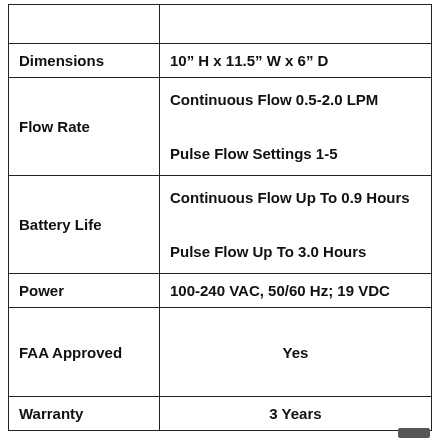|  |  |
| --- | --- |
| Dimensions | 10” H x 11.5” W x 6” D |
| Flow Rate | Continuous Flow 0.5-2.0 LPM
Pulse Flow Settings 1-5 |
| Battery Life | Continuous Flow Up To 0.9 Hours
Pulse Flow Up To 3.0 Hours |
| Power | 100-240 VAC, 50/60 Hz; 19 VDC |
| FAA Approved | Yes |
| Warranty | 3 Years |